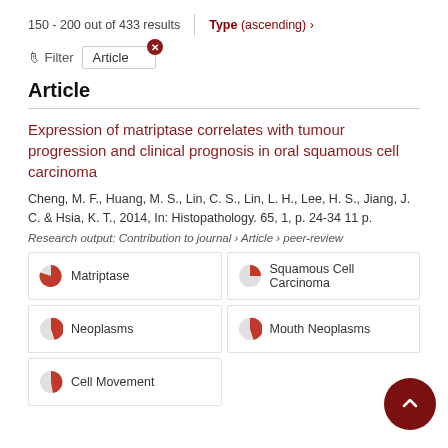150 - 200 out of 433 results | Type (ascending) >
Filter  Article
Article
Expression of matriptase correlates with tumour progression and clinical prognosis in oral squamous cell carcinoma
Cheng, M. F., Huang, M. S., Lin, C. S., Lin, L. H., Lee, H. S., Jiang, J. C. & Hsia, K. T., 2014, In: Histopathology. 65, 1, p. 24-34 11 p.
Research output: Contribution to journal › Article › peer-review
| Matriptase | Squamous Cell Carcinoma |
| Neoplasms | Mouth Neoplasms |
| Cell Movement |  |